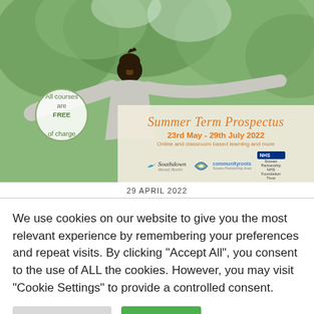[Figure (photo): Hero image: man with arms outstretched facing up, outdoor leafy background. Overlay banner with 'Summer Term Prospectus 23rd May - 29th July 2022', organization logos (Southdown, communityroots, NHS Sussex Partnership), and a circular badge saying 'All courses are FREE of charge'.]
29 APRIL 2022
We use cookies on our website to give you the most relevant experience by remembering your preferences and repeat visits. By clicking "Accept All", you consent to the use of ALL the cookies. However, you may visit "Cookie Settings" to provide a controlled consent.